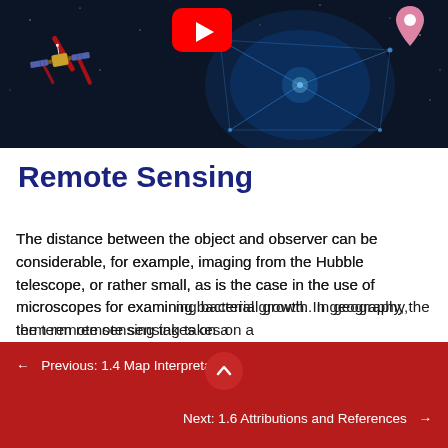[Figure (screenshot): YouTube video thumbnail showing a satellite in space with a glowing network/globe and a location pin icon, dark blue background with red streaks. YouTube play button visible at top center.]
Remote Sensing
The distance between the object and observer can be considerable, for example, imaging from the Hubble telescope, or rather small, as is the case in the use of microscopes for examining bacterial growth. In geography, the term remote sensing takes on a
← Previous: 1.4 Map Interpretation
Next: 1.6 Attributions and References →